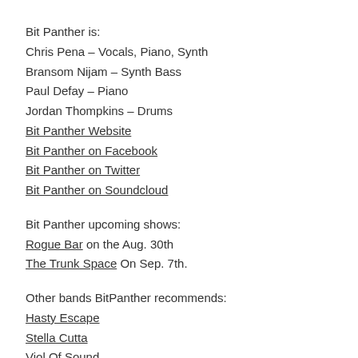Bit Panther is:
Chris Pena – Vocals, Piano, Synth
Bransom Nijam – Synth Bass
Paul Defay – Piano
Jordan Thompkins – Drums
Bit Panther Website
Bit Panther on Facebook
Bit Panther on Twitter
Bit Panther on Soundcloud
Bit Panther upcoming shows:
Rogue Bar on the Aug. 30th
The Trunk Space On Sep. 7th.
Other bands BitPanther recommends:
Hasty Escape
Stella Cutta
Viol Of Sound